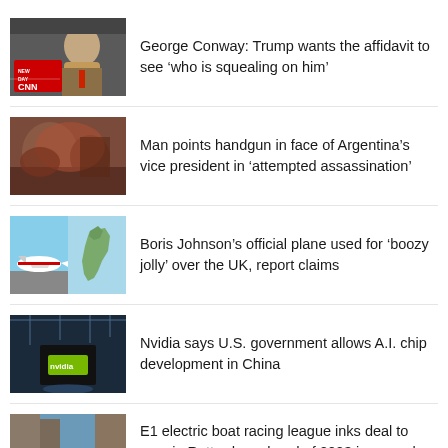[Figure (screenshot): CNN New Day thumbnail showing a man in suit on TV]
George Conway: Trump wants the affidavit to see ‘who is squealing on him’
[Figure (photo): Blurry photo of crowd scene with red/orange tones, Argentina vice president assassination attempt]
Man points handgun in face of Argentina’s vice president in ‘attempted assassination’
[Figure (photo): Split image of airplane on tarmac and map of UK]
Boris Johnson’s official plane used for ‘boozy jolly’ over the UK, report claims
[Figure (photo): Nvidia building/display with logo, indoor venue]
Nvidia says U.S. government allows A.I. chip development in China
[Figure (photo): Electric boat racing on water in a city canal]
E1 electric boat racing league inks deal to race in Rotterdam ahead of 2023 inaugural season